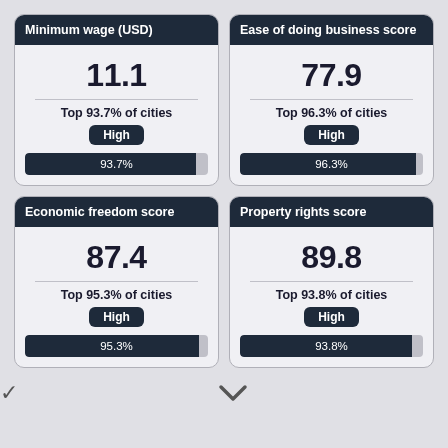[Figure (infographic): Four metric cards arranged in 2x2 grid. Top-left: Minimum wage (USD) = 11.1, Top 93.7% of cities, High, 93.7% bar. Top-right: Ease of doing business score = 77.9, Top 96.3% of cities, High, 96.3% bar. Bottom-left: Economic freedom score = 87.4, Top 95.3% of cities, High, 95.3% bar. Bottom-right: Property rights score = 89.8, Top 93.8% of cities, High, 93.8% bar.]